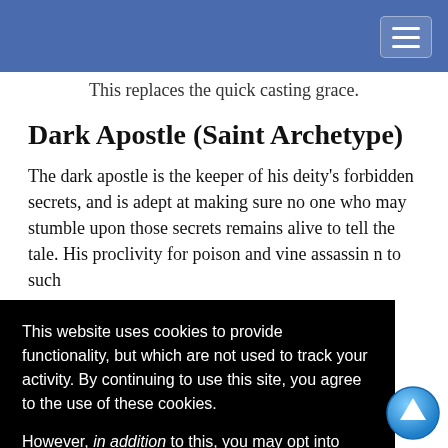Navigation bar with hamburger menu
This replaces the quick casting grace.
Dark Apostle (Saint Archetype)
The dark apostle is the keeper of his deity's forbidden secrets, and is adept at making sure no one who may stumble upon those secrets remains alive to tell the tale. His proclivity for poison and [wine assassin] [n to such]
[t choose a] [therefore may]
[y recognize] [may make use] [wardly]
This website uses cookies to provide functionality, but which are not used to track your activity. By continuing to use this site, you agree to the use of these cookies.

However, in addition to this, you may opt into your activity being tracked in order to help us improve our service.

For more information, please click here
OK | No, thank you